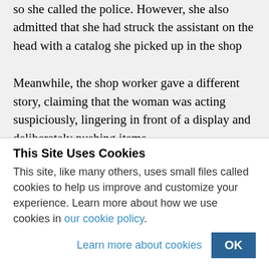so she called the police. However, she also admitted that she had struck the assistant on the head with a catalog she picked up in the shop
Meanwhile, the shop worker gave a different story, claiming that the woman was acting suspiciously, lingering in front of a display and deliberately pushing items
This Site Uses Cookies
This site, like many others, uses small files called cookies to help us improve and customize your experience. Learn more about how we use cookies in our cookie policy.
Learn more about cookies | OK